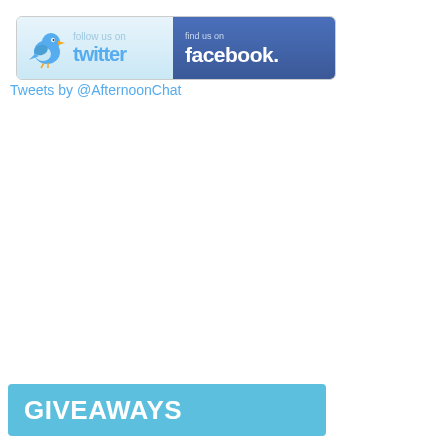[Figure (logo): Social media banner with Twitter (follow us on twitter) and Facebook (find us on facebook) sections side by side]
Tweets by @AfternoonChat
GIVEAWAYS